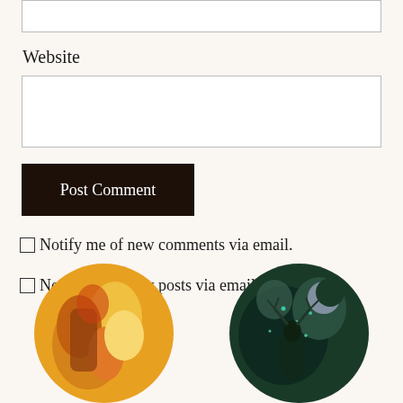Website
Post Comment
Notify me of new comments via email.
Notify me of new posts via email.
[Figure (illustration): Two circular cropped illustrations visible at the bottom of the page. Left circle shows warm yellow/orange tones with a figure. Right circle shows dark teal/green tones with celestial or fantasy imagery including a moon and glowing lights.]